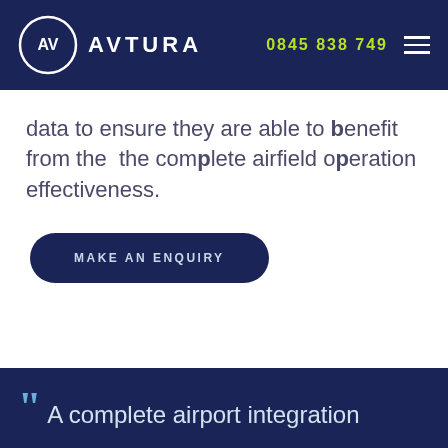AVTURA | 0845 838 749
data to ensure they are able to benefit from the  the complete airfield operation effectiveness.
MAKE AN ENQUIRY
““ A complete airport integration